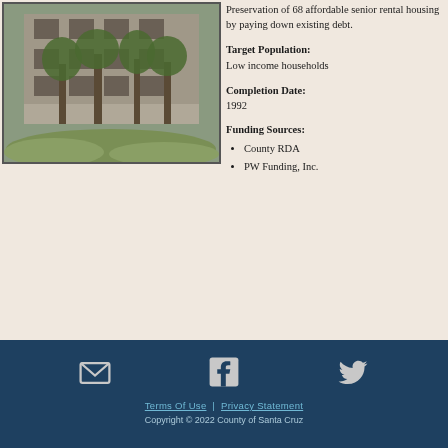[Figure (photo): Exterior view of a multi-story residential building with trees and green ground cover in the foreground]
Preservation of 68 affordable senior rental housing by paying down existing debt.
Target Population: Low income households
Completion Date: 1992
Funding Sources:
County RDA
PW Funding, Inc.
Terms Of Use | Privacy Statement
Copyright © 2022 County of Santa Cruz